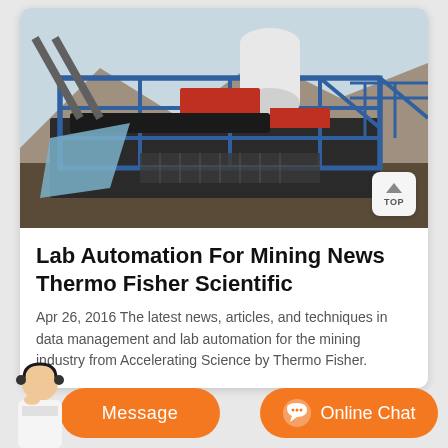[Figure (photo): Outdoor photo of blue-framed mining/industrial equipment (conveyor or screening machine) at a mining site with mountains in the background]
Lab Automation For Mining News Thermo Fisher Scientific
Apr 26, 2016 The latest news, articles, and techniques in data management and lab automation for the mining industry from Accelerating Science by Thermo Fisher.
[Figure (photo): Customer service representative avatar with headset, used for chat interface]
Message
Online Chat